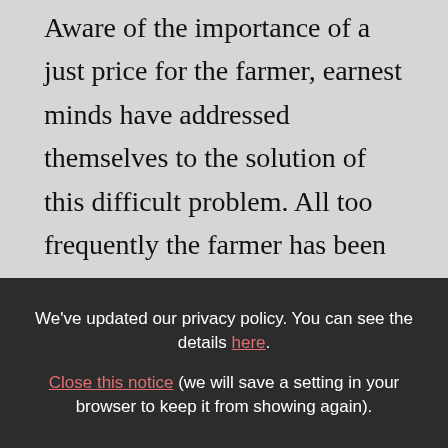Aware of the importance of a just price for the farmer, earnest minds have addressed themselves to the solution of this difficult problem. All too frequently the farmer has been made the victim of competitive forces in the market with the consequence that he has been forced to take whatever was offered him for his commodities, regardless of the costs of production. The Conference protests vigorously against a system of selling and buying that offers bargain prices to the
We've updated our privacy policy. You can see the details here. Close this notice (we will save a setting in your browser to keep it from showing again).